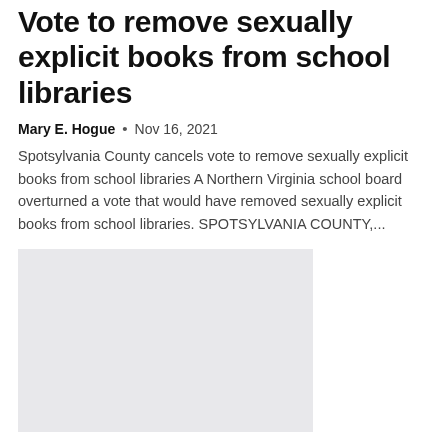Vote to remove sexually explicit books from school libraries
Mary E. Hogue • Nov 16, 2021
Spotsylvania County cancels vote to remove sexually explicit books from school libraries A Northern Virginia school board overturned a vote that would have removed sexually explicit books from school libraries. SPOTSYLVANIA COUNTY,...
[Figure (photo): Gray placeholder image for article thumbnail]
Injured student at Astroworld dies of injuries, family lawyer